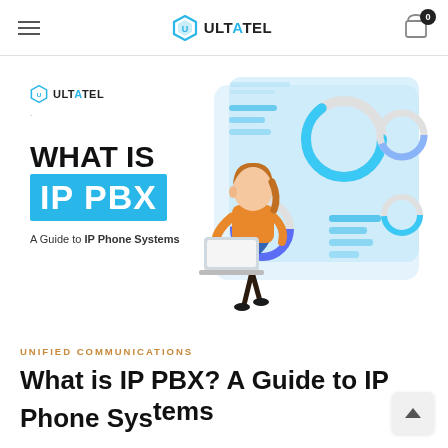ULTATEL — navigation bar with hamburger menu and cart icon (0)
[Figure (illustration): ULTATEL branded infographic illustration showing 'WHAT IS IP PBX – A Guide to IP Phone Systems' text on left, and a woman holding a laptop surrounded by analytics dashboard UI elements on right, with donut charts and bar indicators on a light blue background panel]
UNIFIED COMMUNICATIONS
What is IP PBX? A Guide to IP Phone Systems